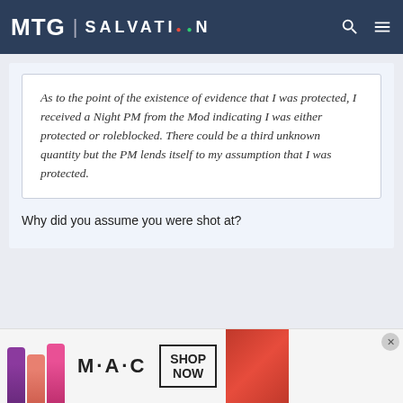MTG | SALVATION
As to the point of the existence of evidence that I was protected, I received a Night PM from the Mod indicating I was either protected or roleblocked. There could be a third unknown quantity but the PM lends itself to my assumption that I was protected.
Why did you assume you were shot at?
[Figure (screenshot): Advertisement banner for MAC cosmetics showing lipsticks with SHOP NOW button]